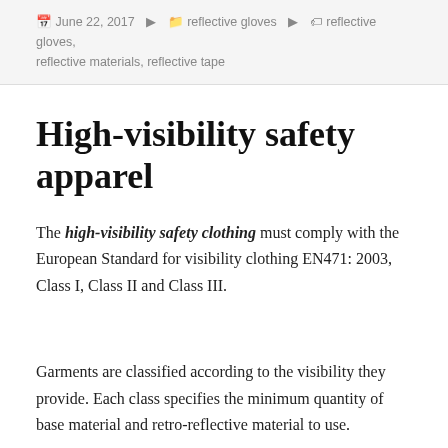June 22, 2017   reflective gloves   reflective gloves, reflective materials, reflective tape
High-visibility safety apparel
The high-visibility safety clothing must comply with the European Standard for visibility clothing EN471: 2003, Class I, Class II and Class III.
Garments are classified according to the visibility they provide. Each class specifies the minimum quantity of base material and retro-reflective material to use.